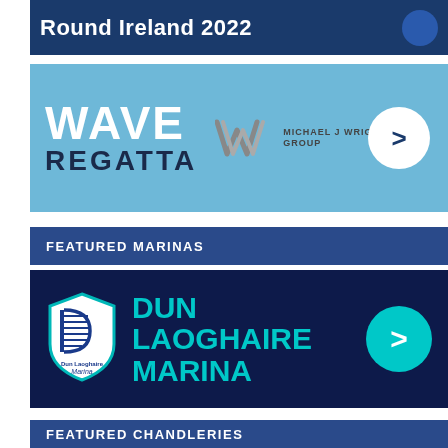Round Ireland 2022
[Figure (logo): Wave Regatta banner with Michael J Wright Group sponsor logo, light blue background, white WAVE text, dark REGATTA text, arrow circle button]
FEATURED MARINAS
[Figure (logo): Dun Laoghaire Marina banner on dark navy background with teal text and marina shield logo, teal arrow circle button]
FEATURED CHANDLERIES
[Figure (logo): CH Marine banner partially visible at bottom]